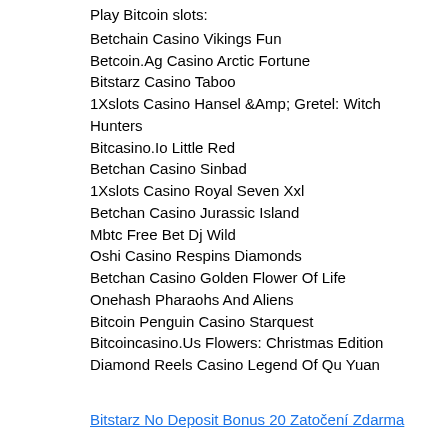Play Bitcoin slots:
Betchain Casino Vikings Fun
Betcoin.Ag Casino Arctic Fortune
Bitstarz Casino Taboo
1Xslots Casino Hansel &Amp; Gretel: Witch Hunters
Bitcasino.Io Little Red
Betchan Casino Sinbad
1Xslots Casino Royal Seven Xxl
Betchan Casino Jurassic Island
Mbtc Free Bet Dj Wild
Oshi Casino Respins Diamonds
Betchan Casino Golden Flower Of Life
Onehash Pharaohs And Aliens
Bitcoin Penguin Casino Starquest
Bitcoincasino.Us Flowers: Christmas Edition
Diamond Reels Casino Legend Of Qu Yuan
Bitstarz No Deposit Bonus 20 Zatočení Zdarma